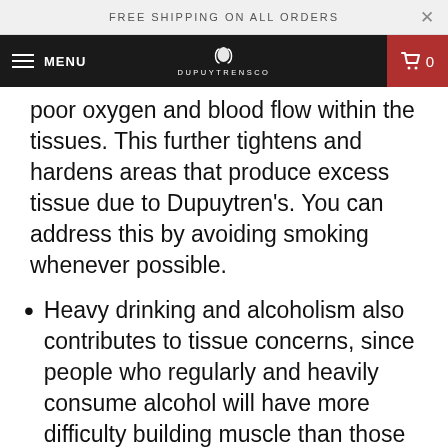FREE SHIPPING ON ALL ORDERS
MENU  DUPUYTRENSCO  0
poor oxygen and blood flow within the tissues. This further tightens and hardens areas that produce excess tissue due to Dupuytren's. You can address this by avoiding smoking whenever possible.
Heavy drinking and alcoholism also contributes to tissue concerns, since people who regularly and heavily consume alcohol will have more difficulty building muscle than those who do not drink. This will lead someone with Dupuytren's to exhibit further impaired strength. You can avoid this risk factor by refraining from drinking alcohol.